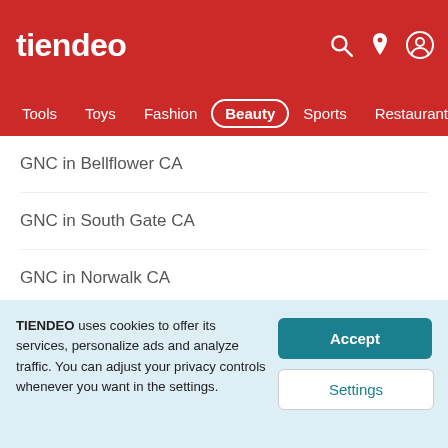tiendeo
Tools  Toys  Fashion  Beauty  Sports  Restaurants  Au
GNC in Bellflower CA
GNC in South Gate CA
GNC in Norwalk CA
GNC in Compton CA
GNC in Pico Rivera CA
TIENDEO uses cookies to offer its services, personalize ads and analyze traffic. You can adjust your privacy controls whenever you want in the settings.